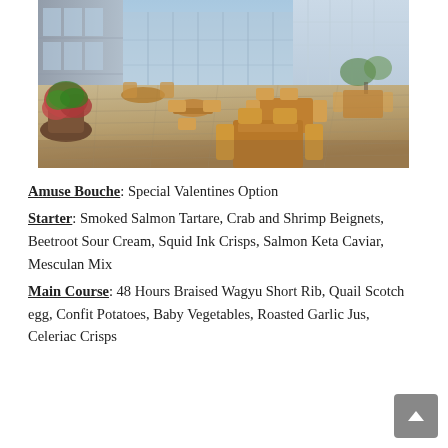[Figure (photo): Outdoor restaurant terrace with wooden tables and chairs arranged on a deck. Modern glass building facade in the background. Potted red flowering plants on the left side. Sunny daylight setting.]
Amuse Bouche: Special Valentines Option
Starter: Smoked Salmon Tartare, Crab and Shrimp Beignets, Beetroot Sour Cream, Squid Ink Crisps, Salmon Keta Caviar, Mesculan Mix
Main Course: 48 Hours Braised Wagyu Short Rib, Quail Scotch egg, Confit Potatoes, Baby Vegetables, Roasted Garlic Jus, Celeriac Crisps